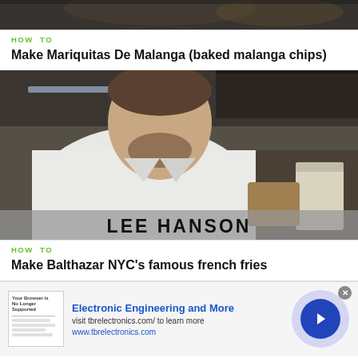[Figure (photo): Top cropped image of food (malanga chips) on a dark background]
HOW TO
Make Mariquitas De Malanga (baked malanga chips)
[Figure (photo): Video thumbnail showing a chef in white coat in a kitchen with text overlay LEE HANSON]
HOW TO
Make Balthazar NYC's famous french fries
[Figure (other): Advertisement banner for tbrelectronics.com with text Electronic Engineering and More, visit tbrelectronics.com/ to learn more, www.tbrelectronics.com, with a forward arrow button]